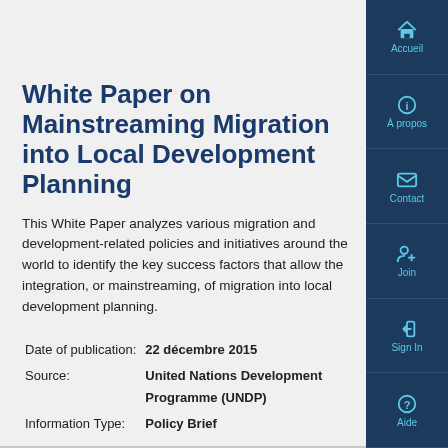White Paper on Mainstreaming Migration into Local Development Planning
This White Paper analyzes various migration and development-related policies and initiatives around the world to identify the key success factors that allow the integration, or mainstreaming, of migration into local development planning.
Date of publication: 22 décembre 2015
Source: United Nations Development Programme (UNDP)
Information Type: Policy Brief